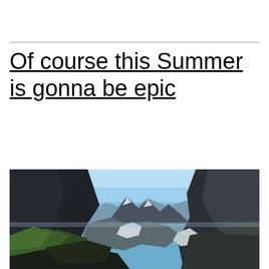Of course this Summer is gonna be epic
[Figure (photo): Panoramic mountain landscape with rocky peaks, blue sky, green forested slopes and patches of snow in the valleys]